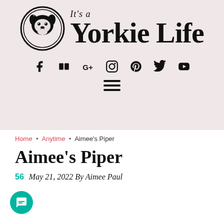[Figure (logo): It's a Yorkie Life blog header logo with circular dog illustration and brand name]
[Figure (infographic): Social media icons row: Facebook, Flickr, Google+, Instagram, Pinterest, Twitter, YouTube]
[Figure (infographic): Hamburger menu icon with three horizontal lines]
Home • Anytime • Aimee's Piper
Aimee's Piper
56 May 21, 2022 By Aimee Paul